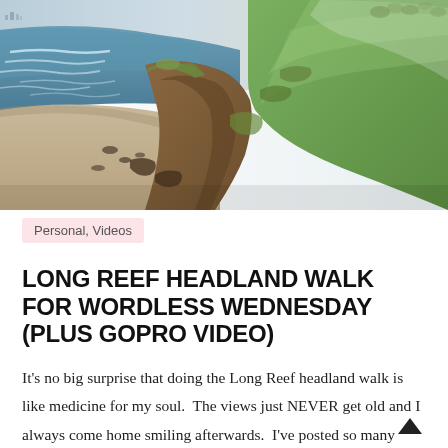[Figure (photo): Aerial/elevated view of Long Reef headland showing ocean waves, sandy beach, rocky cliffs, and green golf course on the right with hazy sky background.]
Personal, Videos
LONG REEF HEADLAND WALK FOR WORDLESS WEDNESDAY (PLUS GOPRO VIDEO)
It's no big surprise that doing the Long Reef headland walk is like medicine for my soul.  The views just NEVER get old and I always come home smiling afterwards.  I've posted so many beautiful photos before that I thought I'd do something a little